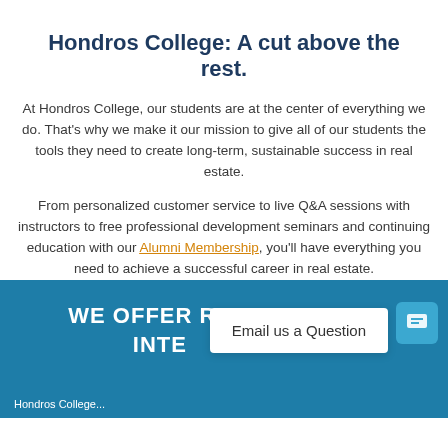Hondros College: A cut above the rest.
At Hondros College, our students are at the center of everything we do. That’s why we make it our mission to give all of our students the tools they need to create long-term, sustainable success in real estate.
From personalized customer service to live Q&A sessions with instructors to free professional development seminars and continuing education with our Alumni Membership, you’ll have everything you need to achieve a successful career in real estate.
WE OFFER RECOGNIZED INTERNATIONALLY